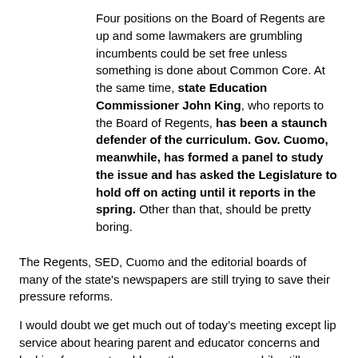Four positions on the Board of Regents are up and some lawmakers are grumbling incumbents could be set free unless something is done about Common Core. At the same time, state Education Commissioner John King, who reports to the Board of Regents, has been a staunch defender of the curriculum. Gov. Cuomo, meanwhile, has formed a panel to study the issue and has asked the Legislature to hold off on acting until it reports in the spring. Other than that, should be pretty boring.
The Regents, SED, Cuomo and the editorial boards of many of the state's newspapers are still trying to save their pressure reforms.
I would doubt we get much out of today’s meeting except lip service about hearing parent and educator concerns and looking for ways to address those concerns while still maintaining the drive to full CCSS implementation.